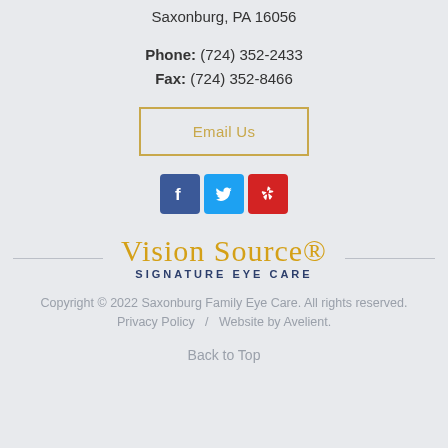Saxonburg, PA 16056
Phone: (724) 352-2433
Fax: (724) 352-8466
Email Us
[Figure (logo): Social media icons: Facebook (blue), Twitter (light blue), Yelp (red)]
[Figure (logo): Vision Source Signature Eye Care logo with script text in gold and subtitle in dark blue]
Copyright © 2022 Saxonburg Family Eye Care. All rights reserved.
Privacy Policy   /   Website by Avelient.
Back to Top